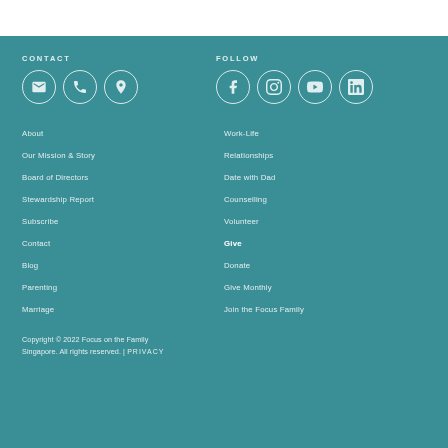CONTACT
[Figure (illustration): Three circular icon buttons for email, phone, and location contact methods]
FOLLOW
[Figure (illustration): Four circular icon buttons for Facebook, Instagram, YouTube, and LinkedIn social media]
About
Our Mission & Story
Board of Directors
Stewardship Report
Subscribe
Contact
Blog
Parenting
Marriage
Work-Life
Relationships
Date with Dad
Counselling
Volunteer
Give
Donate
Give Monthly
Join the Focus Family
Copyright © 2022 Focus on the Family Singapore. All rights reserved. | PRIVACY